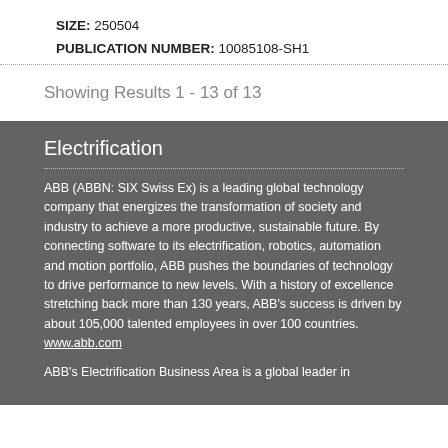SIZE: 250504
PUBLICATION NUMBER: 10085108-SH1
Showing Results 1 - 13 of 13
Electrification
ABB (ABBN: SIX Swiss Ex) is a leading global technology company that energizes the transformation of society and industry to achieve a more productive, sustainable future. By connecting software to its electrification, robotics, automation and motion portfolio, ABB pushes the boundaries of technology to drive performance to new levels. With a history of excellence stretching back more than 130 years, ABB's success is driven by about 105,000 talented employees in over 100 countries. www.abb.com
ABB's Electrification Business Area is a global leader in